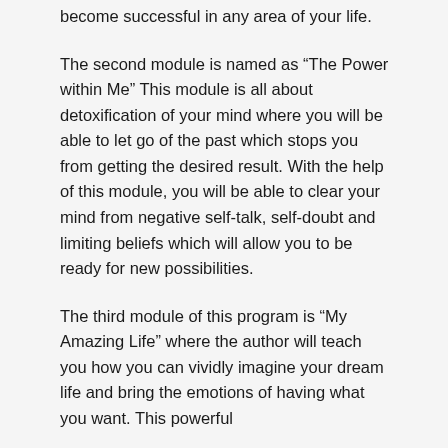become successful in any area of your life.
The second module is named as “The Power within Me” This module is all about detoxification of your mind where you will be able to let go of the past which stops you from getting the desired result. With the help of this module, you will be able to clear your mind from negative self-talk, self-doubt and limiting beliefs which will allow you to be ready for new possibilities.
The third module of this program is “My Amazing Life” where the author will teach you how you can vividly imagine your dream life and bring the emotions of having what you want. This powerful